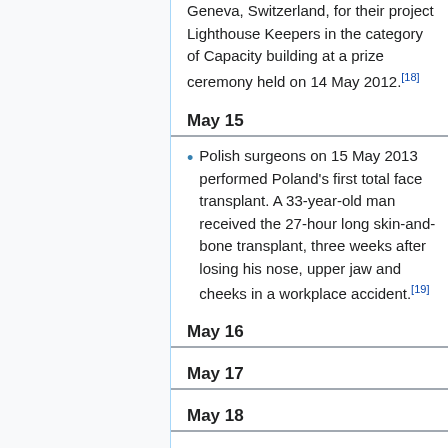Geneva, Switzerland, for their project Lighthouse Keepers in the category of Capacity building at a prize ceremony held on 14 May 2012.[18]
May 15
Polish surgeons on 15 May 2013 performed Poland's first total face transplant. A 33-year-old man received the 27-hour long skin-and-bone transplant, three weeks after losing his nose, upper jaw and cheeks in a workplace accident.[19]
May 16
May 17
May 18
May 19